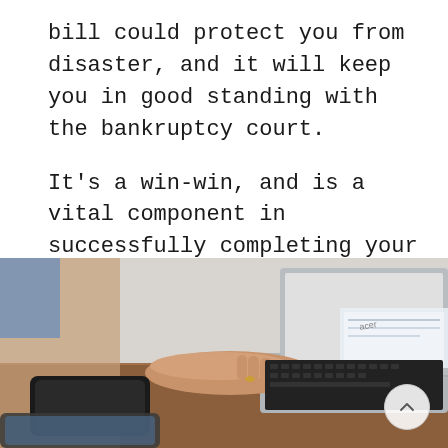bill could protect you from disaster, and it will keep you in good standing with the bankruptcy court.
It's a win-win, and is a vital component in successfully completing your Chapter 13 plan.
[Figure (photo): Person typing on a laptop at a desk with a smartphone and tablet visible nearby]